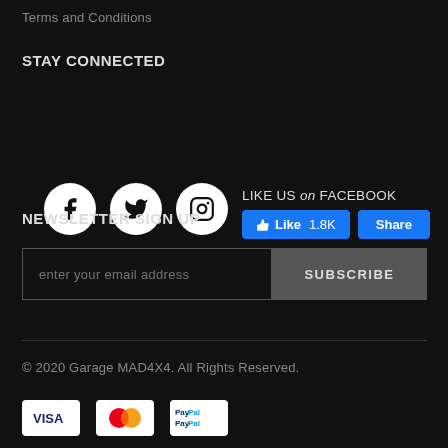Terms and Conditions
STAY CONNECTED
[Figure (infographic): Social media icons: Facebook (f), Twitter (bird), Instagram (camera) as white circles on dark background, and a Facebook Like/Share widget showing 'LIKE US on FACEBOOK' with Like 1.8K and Share buttons]
NEWSLETTER SIGN UP
[Figure (infographic): Email subscription form with text input 'enter your email address' and a SUBSCRIBE button]
© 2020 Garage MAD4X4. All Rights Reserved.
[Figure (infographic): Payment method icons: Visa, Mastercard, PayPal]